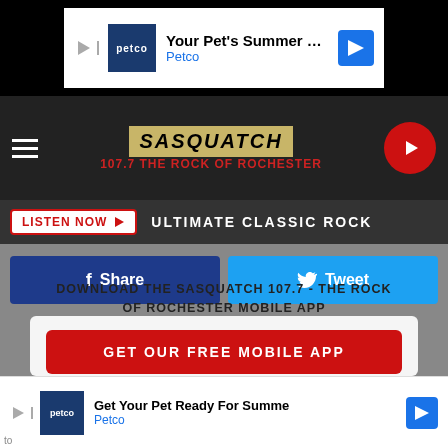[Figure (screenshot): Petco advertisement banner: 'Your Pet's Summer Gear Is Here' with Petco logo and navigation arrow]
[Figure (logo): Sasquatch 107.7 The Rock of Rochester radio station logo with hamburger menu and play button]
LISTEN NOW  ULTIMATE CLASSIC ROCK
[Figure (infographic): Facebook Share button (dark blue) and Twitter Tweet button (light blue)]
DOWNLOAD THE SASQUATCH 107.7 - THE ROCK OF ROCHESTER MOBILE APP
GET OUR FREE MOBILE APP
Also listen on:  amazon alexa
[Figure (screenshot): Petco advertisement banner: 'Get Your Pet Ready For Summer' with Petco logo and navigation arrow]